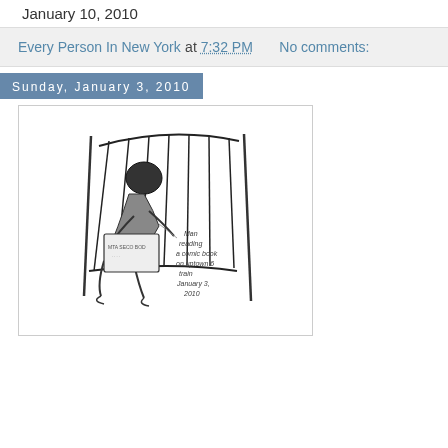January 10, 2010
Every Person In New York at 7:32 PM   No comments:
Sunday, January 3, 2010
[Figure (illustration): Pen and ink sketch of a person sitting on a subway train, reading a comic book, hunched over between the seats. Handwritten annotation reads: 'Man reading a comic book on uptown 6 train January 3, 2010'. Label on seat reads 'MTA SECO BOD'.]